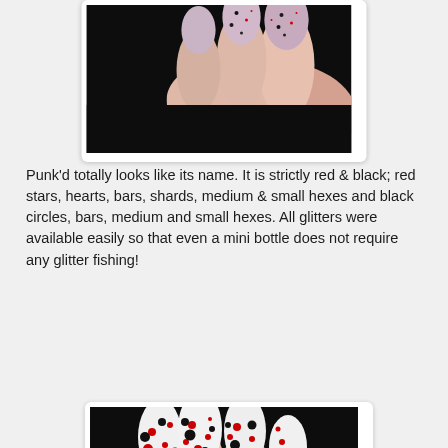[Figure (photo): Close-up photo of fingernails painted with pink/silver glitter nail polish with black and red speckles, on a dark background.]
Punk’d totally looks like its name.  It is strictly red & black; red stars, hearts, bars, shards, medium & small hexes and black circles, bars, medium and small hexes.  All glitters were available easily so that even a mini bottle does not require any glitter fishing!
[Figure (photo): Close-up photo of fingernails with white/silver base and red and black glitter splatter pattern nail art, showing multiple nails against a dark background.]